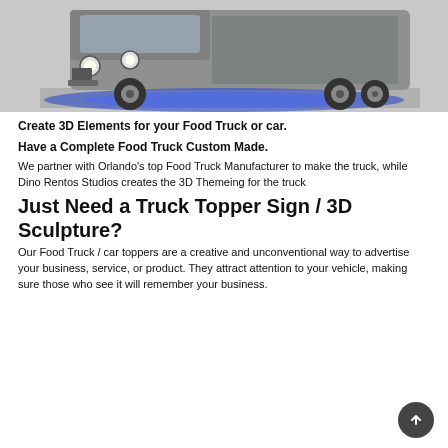[Figure (photo): A custom food truck with blue underglow lighting, decorated with scenic imagery, photographed from a front-side angle in a showroom or garage setting.]
Create 3D Elements for your Food Truck or car.
Have a Complete Food Truck Custom Made.
We partner with Orlando's top Food Truck Manufacturer to make the truck, while Dino Rentos Studios creates the 3D Themeing for the truck
Just Need a Truck Topper Sign / 3D Sculpture?
Our Food Truck / car toppers are a creative and unconventional way to advertise your business, service, or product. They attract attention to your vehicle, making sure those who see it will remember your business.